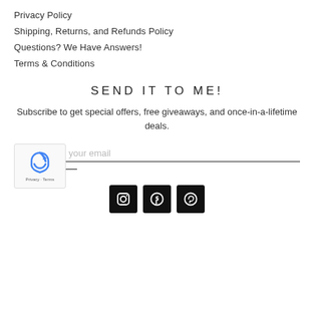Privacy Policy
Shipping, Returns, and Refunds Policy
Questions? We Have Answers!
Terms & Conditions
SEND IT TO ME!
Subscribe to get special offers, free giveaways, and once-in-a-lifetime deals.
[Figure (other): reCAPTCHA widget with logo, Privacy and Terms links]
your email
[Figure (other): Three social media icon buttons (Instagram, Facebook, Pinterest) on black square backgrounds]